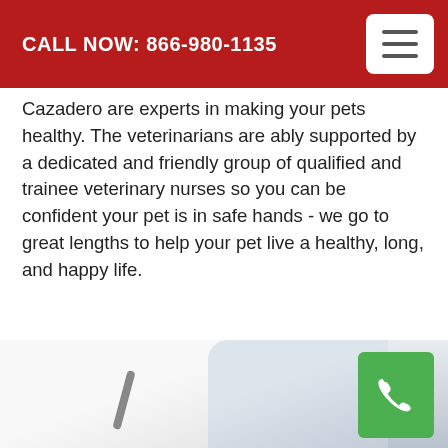CALL NOW: 866-980-1135
Cazadero are experts in making your pets healthy. The veterinarians are ably supported by a dedicated and friendly group of qualified and trainee veterinary nurses so you can be confident your pet is in safe hands - we go to great lengths to help your pet live a healthy, long, and happy life.
Veterinarians in Cazadero
Spaying & Neutering in Cazadero
Veterinary Euthanasia in Cazadero
[Figure (photo): Veterinarian in white coat with stethoscope, with a green phone call button overlay in bottom right]